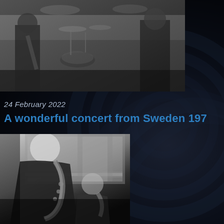[Figure (photo): Black and white concert photo showing musicians on stage with drum kit and instruments visible, top portion of page]
24 February 2022
A wonderful concert from Sweden 197...
[Figure (photo): Black and white photo of two saxophonists performing, one with curly white/light hair playing soprano or tenor saxophone, another musician visible behind]